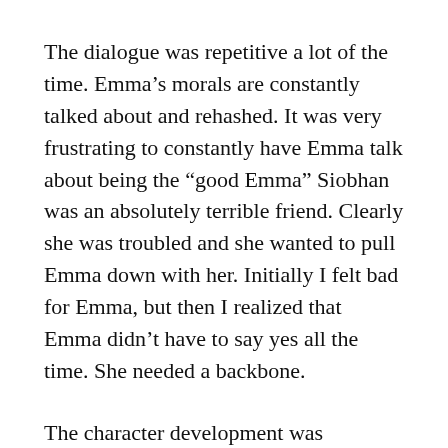The dialogue was repetitive a lot of the time. Emma’s morals are constantly talked about and rehashed. It was very frustrating to constantly have Emma talk about being the “good Emma” Siobhan was an absolutely terrible friend. Clearly she was troubled and she wanted to pull Emma down with her. Initially I felt bad for Emma, but then I realized that Emma didn’t have to say yes all the time. She needed a backbone.
The character development was non-existent. I wanted to know so much about Siobhan’s background and how she came to be such a troubled young lady. There were points & conversations that alluded to it, but nothing was explored in depth. Also I wanted to know more about Emma’s mom. That storyline was basically